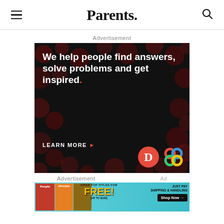Parents.
Advertisement
[Figure (screenshot): Advertisement banner with dark background and red bokeh dots. White bold text reads: 'We help people find answers, solve problems and get inspired.' with a red period. Below: 'LEARN MORE >' with a red arrow. Bottom right shows two logos: a red circle with a stylized D, and a colorful interlocked circles logo.]
Advertisement
[Figure (screenshot): Advertisement banner with teal/cyan gradient background showing magazine covers for People and allrecipes, plus a food photo. Yellow text 'FREE!' with 'GRAB TOP TITLES FOR' above and '(UP TO $100)' below. Right side: 'JUST PAY SHIPPING & HANDLING' with a dark 'Shop Now →' button.]